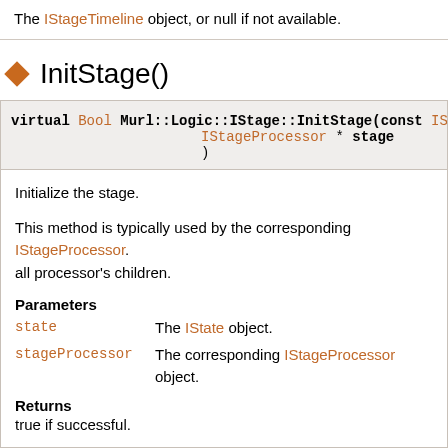The IStageTimeline object, or null if not available.
InitStage()
virtual Bool Murl::Logic::IStage::InitStage(const IState * state IStageProcessor * stageProcessor )
Initialize the stage.
This method is typically used by the corresponding IStageProcessor. all processor's children.
Parameters
state - The IState object.
stageProcessor - The corresponding IStageProcessor object.
Returns
true if successful.
DeInitStage()
virtual Bool Murl::Logic::IStage::DeInitStage(const IState...